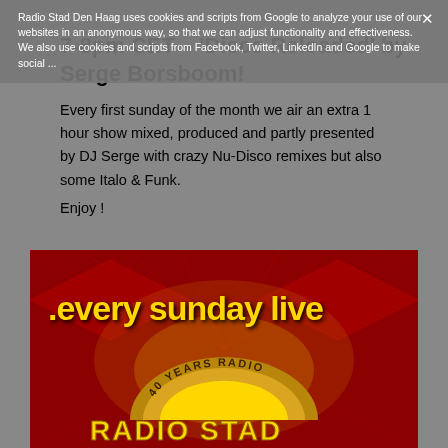Radio Stad Den Haag uses cookies and scripts from Google to analyze your use of our websites in an anonymous way, so that we can adjust functionality and effectiveness. We also use cookies and scripts from Facebook, Twitter, LinkedIn and Google to make social ...
7-8pm CET – 'Disco Reloaded' by Serge Borsboom!
Every first sunday of the month we air an extra 1 hour show mixed, produced and partly presented by DJ Serge with crazy Nu-Disco remixes but also some Italo & Funk.
Enjoy !
[Figure (photo): Radio Stad Den Haag promotional image with text '.every sunday live' and '40 YEARS RADIO STAD' on a red and gold background with geometric patterns.]